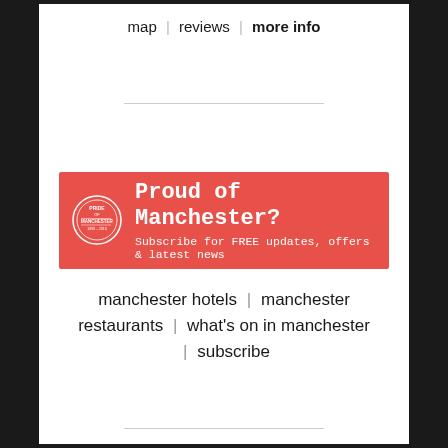map | reviews | more info
[Figure (illustration): Proud of Manchester banner with circular stamp logo on red/coral background. Text: 'Proud of Manchester? Subscribe for FREE updates, offers & latest news']
manchester hotels | manchester restaurants | what's on in manchester | subscribe